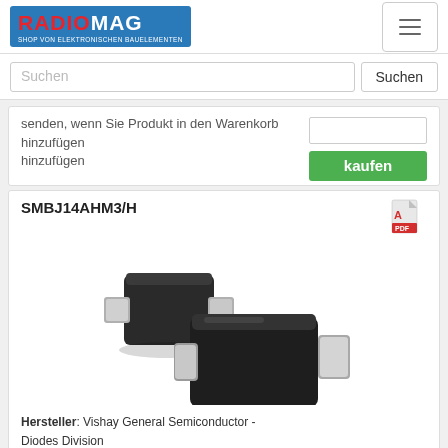RADIOMAG - SHOP VON ELEKTRONISCHEN BAUELEMENTEN
Suchen
senden, wenn Sie Produkt in den Warenkorb hinzufügen
SMBJ14AHM3/H
[Figure (photo): Two SMB/DO-214AA package TVS diodes shown at angle, dark body with silver leads]
Hersteller: Vishay General Semiconductor - Diodes Division
Description: TVS DIODE 14VWM 23.2VC